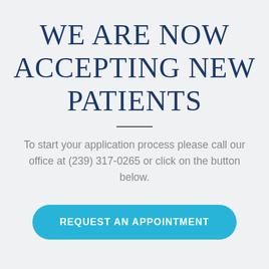WE ARE NOW ACCEPTING NEW PATIENTS
To start your application process please call our office at (239) 317-0265 or click on the button below.
REQUEST AN APPOINTMENT